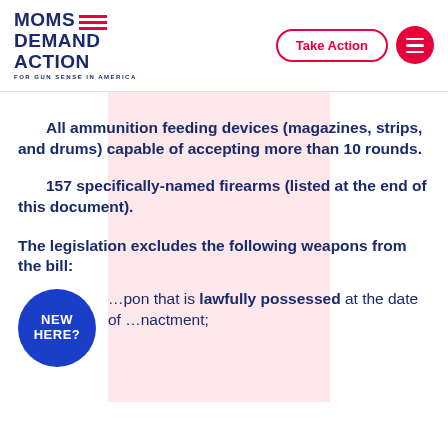[Figure (logo): Moms Demand Action for Gun Sense in America logo with red stripe lines]
Take Action
All ammunition feeding devices (magazines, strips, and drums) capable of accepting more than 10 rounds.
157 specifically-named firearms (listed at the end of this document).
The legislation excludes the following weapons from the bill:
…pon that is lawfully possessed at the date of …nactment;